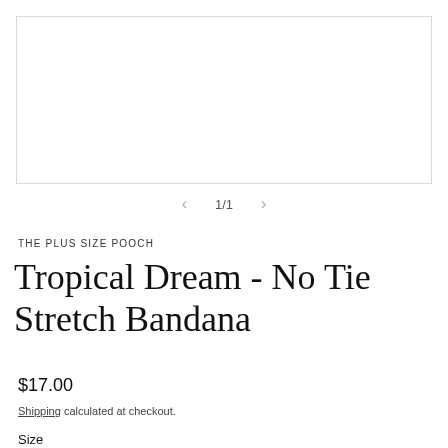[Figure (photo): Product image placeholder — empty white box with light gray border]
1/1
THE PLUS SIZE POOCH
Tropical Dream - No Tie Stretch Bandana
$17.00
Shipping calculated at checkout.
Size